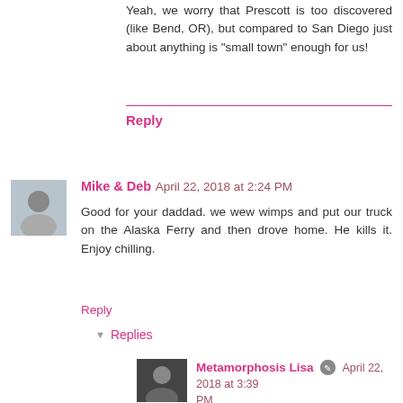Yeah, we worry that Prescott is too discovered (like Bend, OR), but compared to San Diego just about anything is "small town" enough for us!
Reply
Mike & Deb  April 22, 2018 at 2:24 PM
Good for your daddad. we wew wimps and put our truck on the Alaska Ferry and then drove home. He kills it. Enjoy chilling.
Reply
Replies
Metamorphosis Lisa  April 22, 2018 at 3:39 PM
My parents first time to Alaska was in 1975, it was a six week family trip, and we took the ferry from Prince Rupert to Haines then drove all the rest of the trip...I have incredible memories of